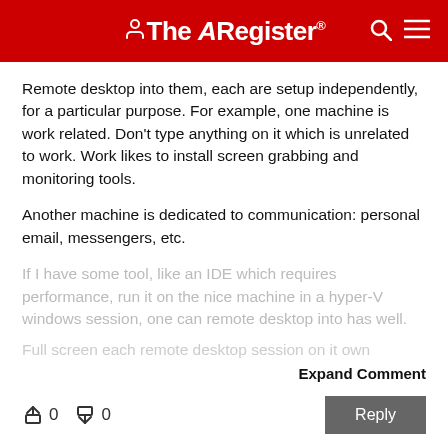The Register
Remote desktop into them, each are setup independently, for a particular purpose. For example, one machine is work related. Don't type anything on it which is unrelated to work. Work likes to install screen grabbing and monitoring tools.

Another machine is dedicated to communication: personal email, messengers, etc.

If I have some tool, like an IDE which requires performance, run it on the nice machine in a hyper-V windows session, one can remote desktop into has well.

Full screen each remote desktop session on it own
Expand Comment
0  0  Reply
Tuesday 5th October 2021 21:55 GMT